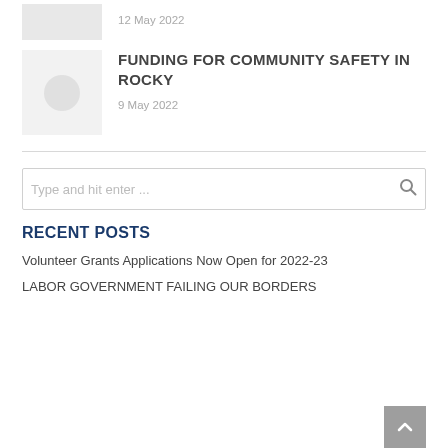12 May 2022
FUNDING FOR COMMUNITY SAFETY IN ROCKY
9 May 2022
Type and hit enter ...
RECENT POSTS
Volunteer Grants Applications Now Open for 2022-23
LABOR GOVERNMENT FAILING OUR BORDERS